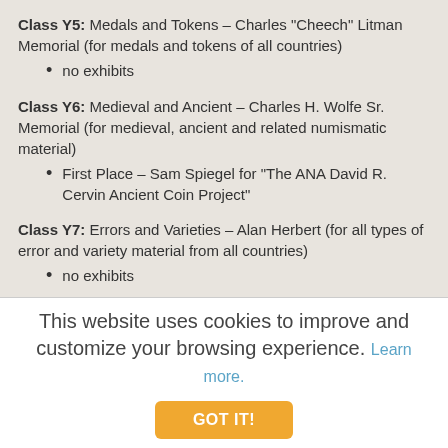Class Y5: Medals and Tokens – Charles "Cheech" Litman Memorial (for medals and tokens of all countries)
no exhibits
Class Y6: Medieval and Ancient – Charles H. Wolfe Sr. Memorial (for medieval, ancient and related numismatic material)
First Place – Sam Spiegel for "The ANA David R. Cervin Ancient Coin Project"
Class Y7: Errors and Varieties – Alan Herbert (for all types of error and variety material from all countries)
no exhibits
This website uses cookies to improve and customize your browsing experience. Learn more.
GOT IT!